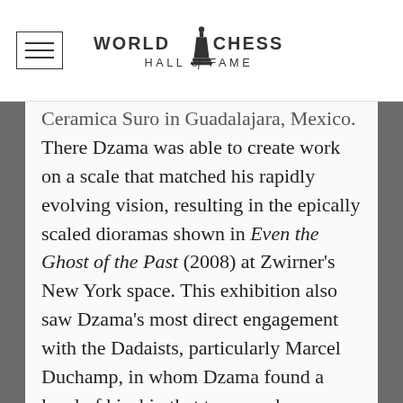World Chess Hall of Fame
Ceramica Suro in Guadalajara, Mexico. There Dzama was able to create work on a scale that matched his rapidly evolving vision, resulting in the epically scaled dioramas shown in Even the Ghost of the Past (2008) at Zwirner's New York space. This exhibition also saw Dzama's most direct engagement with the Dadaists, particularly Marcel Duchamp, in whom Dzama found a level of kinship that transcends influence. The significance of Duchamp for Dzama's artistic evolution can hardly be evoked without mentioning